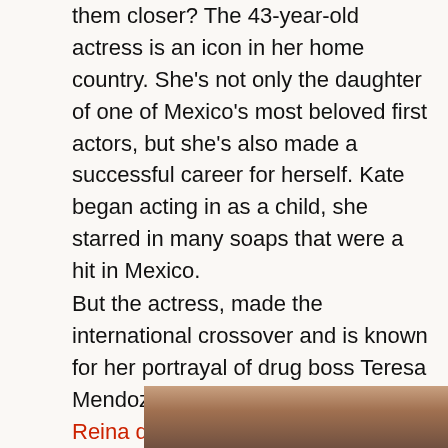them closer? The 43-year-old actress is an icon in her home country. She's not only the daughter of one of Mexico's most beloved first actors, but she's also made a successful career for herself. Kate began acting in as a child, she starred in many soaps that were a hit in Mexico.
But the actress, made the international crossover and is known for her portrayal of drug boss Teresa Mendoza in the soap opera La Reina del Sur (Queen of the South).
[Figure (photo): Bottom portion of a photograph showing a person, partially visible, cropped at top of frame.]